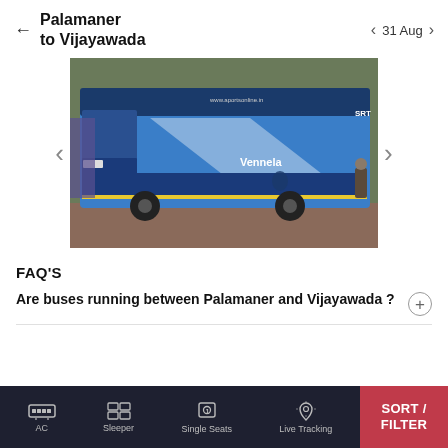Palamaner to Vijayawada  ← → 31 Aug
[Figure (photo): A blue luxury bus (Vennela) parked, front and side view visible, with registration details and website text on the side.]
FAQ'S
Are buses running between Palamaner and Vijayawada ?
AC  Sleeper  Single Seats  Live Tracking  SORT / FILTER